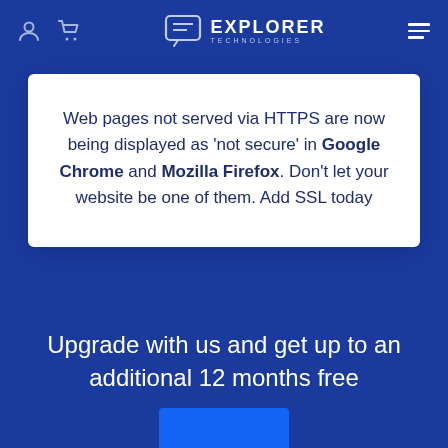Explorer Technologies
Web pages not served via HTTPS are now being displayed as 'not secure' in Google Chrome and Mozilla Firefox. Don't let your website be one of them. Add SSL today
Upgrade with us and get up to an additional 12 months free